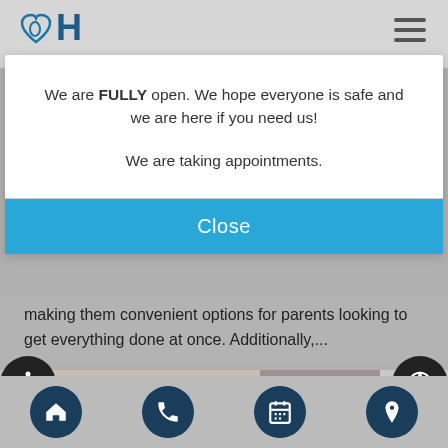JH dental logo and navigation bar
We are FULLY open. We hope everyone is safe and we are here if you need us!

We are taking appointments.
Close
making them convenient options for parents looking to get everything done at once. Additionally,...
[Figure (screenshot): Partially visible photo of a child's head, and a dental professional in white coat on the right]
Bottom navigation bar with home, phone, calendar, and location icons